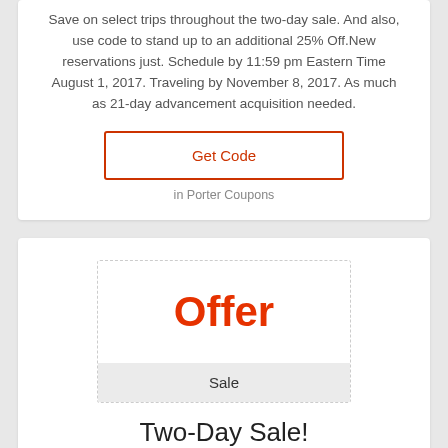Save on select trips throughout the two-day sale. And also, use code to stand up to an additional 25% Off.New reservations just. Schedule by 11:59 pm Eastern Time August 1, 2017. Traveling by November 8, 2017. As much as 21-day advancement acquisition needed.
Get Code
in Porter Coupons
[Figure (other): Coupon offer box with large red 'Offer' text and a grey 'Sale' bar below]
Two-Day Sale!
No voucher code needed. Faucet to shop the sale currently.